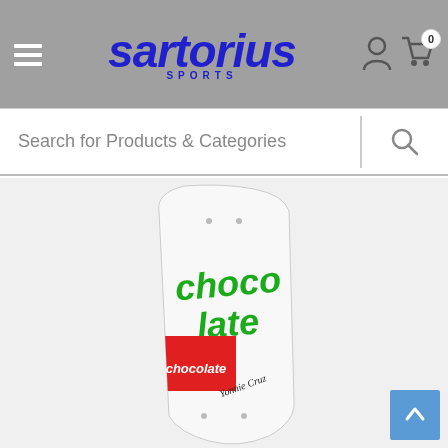Sartorius Sports — navigation header with hamburger menu, logo, user icon, and cart icon (0 items)
Search for Products & Categories
[Figure (photo): A white skateboard deck with green graffiti-style lettering reading 'chocolate' and a red label area also reading 'chocolate'. The rider's name 'Yonnie Cruz' is written in script. The deck is oriented vertically and photographed against a white background.]